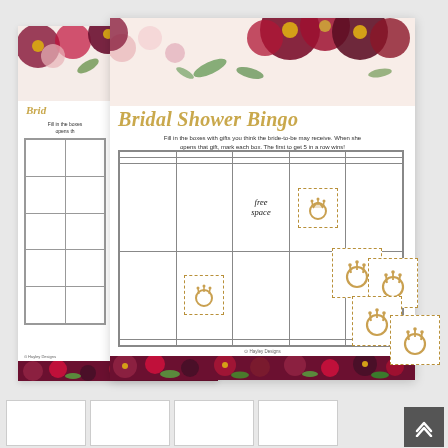[Figure (photo): Product photo showing Bridal Shower Bingo cards with burgundy floral design, a 5x5 blank bingo grid with 'free space' in the center, and small diamond ring bingo chips. Two bingo cards are shown overlapping, along with several dashed-border ring-shaped chips scattered nearby.]
Bridal Shower Bingo
Fill in the boxes with gifts you think the bride-to-be may receive. When she opens that gift, mark each box. The first to get 5 in a row wins!